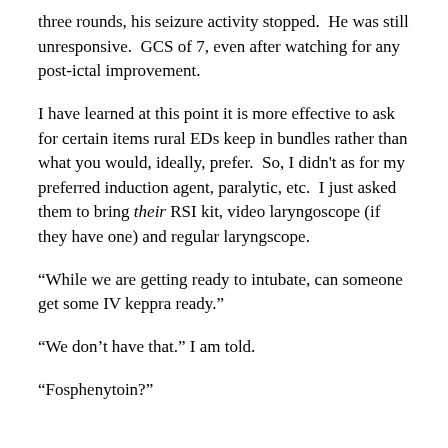three rounds, his seizure activity stopped.  He was still unresponsive.  GCS of 7, even after watching for any post-ictal improvement.
I have learned at this point it is more effective to ask for certain items rural EDs keep in bundles rather than what you would, ideally, prefer.  So, I didn't as for my preferred induction agent, paralytic, etc.  I just asked them to bring their RSI kit, video laryngoscope (if they have one) and regular laryngscope.
“While we are getting ready to intubate, can someone get some IV keppra ready.”
“We don’t have that.” I am told.
“Fosphenytoin?”